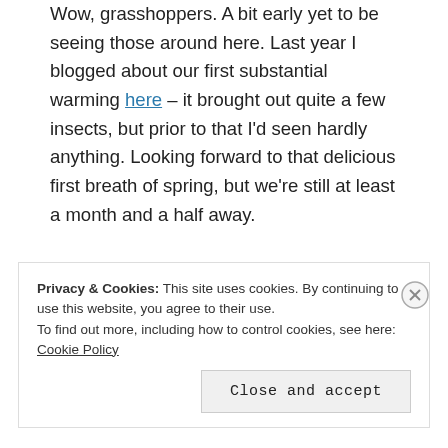Wow, grasshoppers. A bit early yet to be seeing those around here. Last year I blogged about our first substantial warming here – it brought out quite a few insects, but prior to that I'd seen hardly anything. Looking forward to that delicious first breath of spring, but we're still at least a month and a half away.
Reply
Privacy & Cookies: This site uses cookies. By continuing to use this website, you agree to their use.
To find out more, including how to control cookies, see here: Cookie Policy
Close and accept